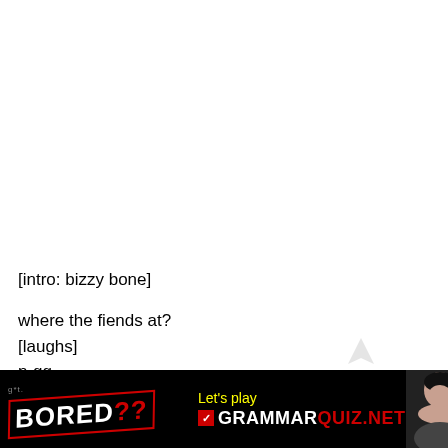[intro: bizzy bone]
where the fiends at?
[laughs]
n-gg-
lo---th
[Figure (infographic): Advertisement banner with black background. Left side shows 'g*t.' text above 'BORED??' in large white/red stamp-style text. Center shows 'Let's play' in yellow and 'GRAMMARQUIZ.NET' with GRAMMAR in white and QUIZ.NET in red with checkmark icon. Right side shows a photo of a person resting their chin on their hands.]